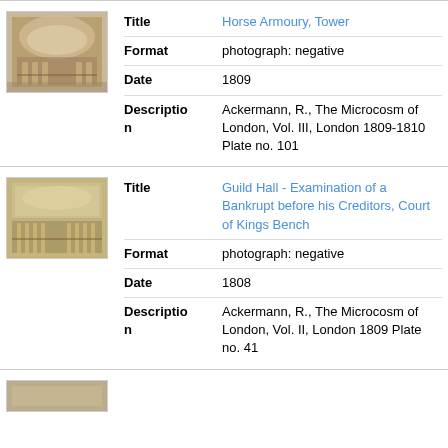[Figure (photo): Thumbnail image of Horse Armoury, Tower - interior scene with arched ceiling and figures]
| Field | Value |
| --- | --- |
| Title | Horse Armoury, Tower |
| Format | photograph: negative |
| Date | 1809 |
| Description | Ackermann, R., The Microcosm of London, Vol. III, London 1809-1810 Plate no. 101 |
[Figure (photo): Thumbnail image of Guild Hall - Examination of a Bankrupt before his Creditors, Court of Kings Bench]
| Field | Value |
| --- | --- |
| Title | Guild Hall - Examination of a Bankrupt before his Creditors, Court of Kings Bench |
| Format | photograph: negative |
| Date | 1808 |
| Description | Ackermann, R., The Microcosm of London, Vol. II, London 1809 Plate no. 41 |